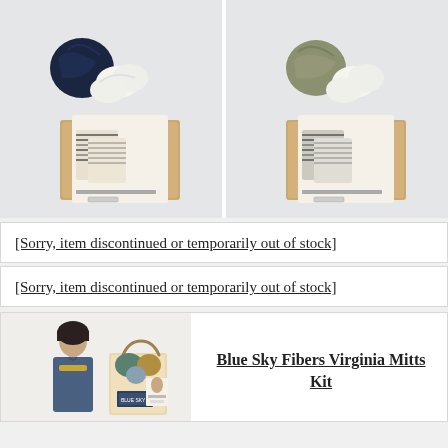[Figure (photo): Two product photos side by side: knitting kits with yarn skeins, striped hats, and packaging boxes on a wooden surface. Left box has dark navy yarn, right box has olive/grey yarn.]
[Sorry, item discontinued or temporarily out of stock]
[Sorry, item discontinued or temporarily out of stock]
[Figure (photo): Photo of a woman with short dark hair wearing a blue cardigan, standing next to a paper shopping bag with yarn balls in teal and gold, with Blue Sky Fibers branding.]
Blue Sky Fibers Virginia Mitts Kit